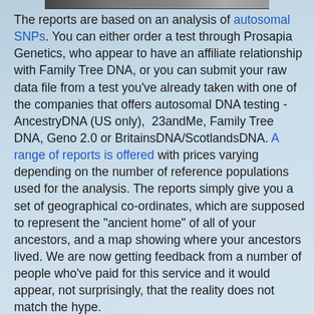[Figure (photo): Partial image strip at the top of the page, showing a dark photograph cropped horizontally]
The reports are based on an analysis of autosomal SNPs. You can either order a test through Prosapia Genetics, who appear to have an affiliate relationship with Family Tree DNA, or you can submit your raw data file from a test you've already taken with one of the companies that offers autosomal DNA testing - AncestryDNA (US only), 23andMe, Family Tree DNA, Geno 2.0 or BritainsDNA/ScotlandsDNA. A range of reports is offered with prices varying depending on the number of reference populations used for the analysis. The reports simply give you a set of geographical co-ordinates, which are supposed to represent the "ancient home" of all of your ancestors, and a map showing where your ancestors lived. We are now getting feedback from a number of people who've paid for this service and it would appear, not surprisingly, that the reality does not match the hype.

Julie Matthews bought the Basic Test, which covers 100 reference populations. She commented in the Facebook R1b-L21 group: